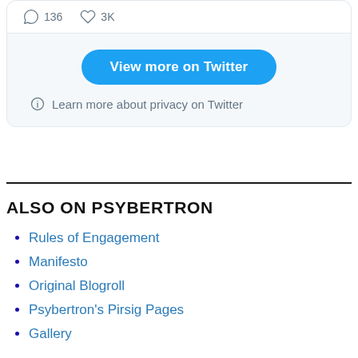[Figure (screenshot): Twitter embedded widget showing tweet stats (136 comments, 3K likes), a 'View more on Twitter' button, and a privacy notice link.]
View more on Twitter
Learn more about privacy on Twitter
ALSO ON PSYBERTRON
Rules of Engagement
Manifesto
Original Blogroll
Psybertron's Pirsig Pages
Gallery